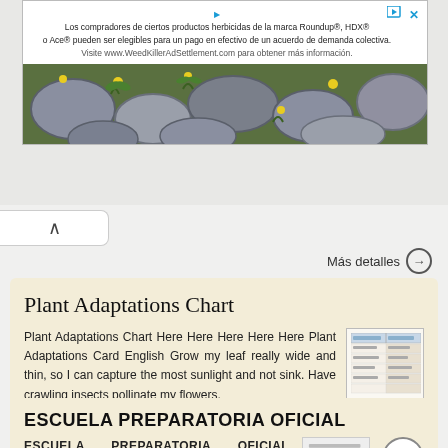[Figure (screenshot): Advertisement banner for Roundup herbicide class action settlement in Spanish. Text reads: 'Los compradores de ciertos productos herbicidas de la marca Roundup®, HDX® o Ace® pueden ser elegibles para un pago en efectivo de un acuerdo de demanda colectiva. Visite www.WeedKillerAdSettlement.com para obtener más información.' Below is a photo of stone pavers with yellow flowers and green plants.]
Más detalles →
Plant Adaptations Chart
Plant Adaptations Chart Here Here Here Here Here Plant Adaptations Card English Grow my leaf really wide and thin, so I can capture the most sunlight and not sink. Have crawling insects pollinate my flowers.
Más detalles →
ESCUELA PREPARATORIA OFICIAL
ESCUELA PREPARATORIA OFICIAL PLANEACIÓN CONSTRUCTIVISTA POR